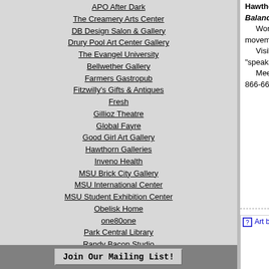APO After Dark
The Creamery Arts Center
DB Design Salon & Gallery
Drury Pool Art Center Gallery
The Evangel University
Bellwether Gallery
Farmers Gastropub
Fitzwilly's Gifts & Antiques
Fresh
Gillioz Theatre
Global Fayre
Good Girl Art Gallery
Hawthorn Galleries
Inveno Health
MSU Brick City Gallery
MSU International Center
MSU Student Exhibition Center
Obelisk Home
one80one
Park Central Library
Randy Bacon Studio
Springfield Hot Glass
Springfield Pottery
Join Our Mailing List!
Hawthorn Galleries Inc., 214 E. Walnut St., is pleased to present Linda Simpson's The Precision of Balance and Jim Bilgere's The Magic Power of Serendipity. Working in terracotta and alabaster, sculptor Linda Simpson explores the human form through movement and emotion. Visibly influenced by cubism and abstract expressionism, painter Jim Bilgere creates work that "speaks to the spirit" in a visual language of color and musicality. Meet the artists and enjoy live music by Anisa Dawn from 6 to 10 p.m. during Art Walk. (417) 866-6688 www.hawthorngalleries.com Open 10 a.m.-6 p.
Art meets innovation at Inveno H
[Figure (photo): Art by Stephanie Cramer - image placeholder]
Inv Boonvill Invento the Firs the ong Explore and art! Health S sharing advance